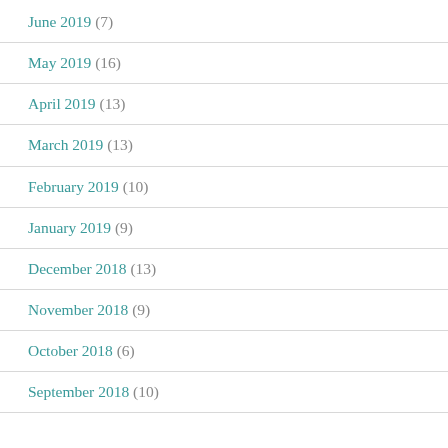June 2019 (7)
May 2019 (16)
April 2019 (13)
March 2019 (13)
February 2019 (10)
January 2019 (9)
December 2018 (13)
November 2018 (9)
October 2018 (6)
September 2018 (10)